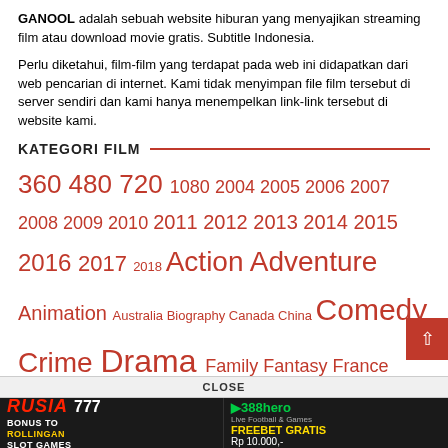GANOOL adalah sebuah website hiburan yang menyajikan streaming film atau download movie gratis. Subtitle Indonesia.
Perlu diketahui, film-film yang terdapat pada web ini didapatkan dari web pencarian di internet. Kami tidak menyimpan file film tersebut di server sendiri dan kami hanya menempelkan link-link tersebut di website kami.
KATEGORI FILM
360 480 720 1080 2004 2005 2006 2007 2008 2009 2010 2011 2012 2013 2014 2015 2016 2017 2018 Action Adventure Animation Australia Biography Canada China Comedy Crime Drama Family Fantasy France Germany History Hong Kong Horror India Japan Music Mystery Romance Sci-fi South Korea Spain Thriller Uk United States Usa War Wrestling
LABEL FILM
21Cineplex Bioskop 21 Bioskop168 BioskopKeren
[Figure (screenshot): Advertisement banner: left side shows RUSIA777 slot games bonus, right side shows 388hero freebet gratis Rp 10.000 offer]